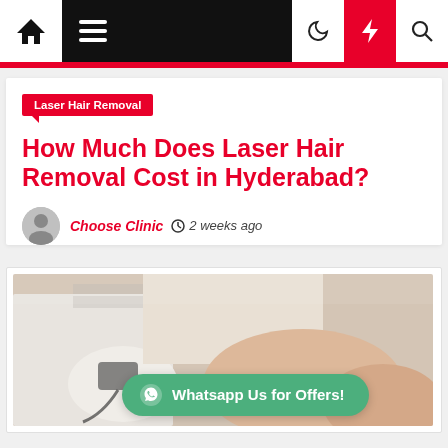Navigation bar with home, menu, moon, lightning, and search icons
Laser Hair Removal
How Much Does Laser Hair Removal Cost in Hyderabad?
Choose Clinic  2 weeks ago
[Figure (photo): Medical professional performing laser hair removal treatment on patient's leg, wearing white gloves. WhatsApp Us for Offers! button overlay.]